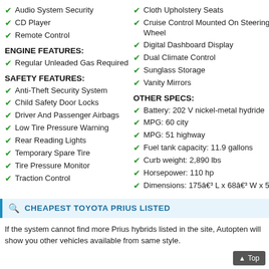Audio System Security
CD Player
Remote Control
ENGINE FEATURES:
Regular Unleaded Gas Required
SAFETY FEATURES:
Anti-Theft Security System
Child Safety Door Locks
Driver And Passenger Airbags
Low Tire Pressure Warning
Rear Reading Lights
Temporary Spare Tire
Tire Pressure Monitor
Traction Control
Cloth Upholstery Seats
Cruise Control Mounted On Steering Wheel
Digital Dashboard Display
Dual Climate Control
Sunglass Storage
Vanity Mirrors
OTHER SPECS:
Battery: 202 V nickel-metal hydride
MPG: 60 city
MPG: 51 highway
Fuel tank capacity: 11.9 gallons
Curb weight: 2,890 lbs
Horsepower: 110 hp
Dimensions: 175â€³ L x 68â€³ W x 5
CHEAPEST TOYOTA PRIUS LISTED
If the system cannot find more Prius hybrids listed in the site, Autopten will show you other vehicles available from same style.